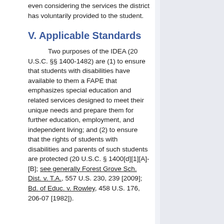even considering the services the district has voluntarily provided to the student.
V. Applicable Standards
Two purposes of the IDEA (20 U.S.C. §§ 1400-1482) are (1) to ensure that students with disabilities have available to them a FAPE that emphasizes special education and related services designed to meet their unique needs and prepare them for further education, employment, and independent living; and (2) to ensure that the rights of students with disabilities and parents of such students are protected (20 U.S.C. § 1400[d][1][A]-[B]; see generally Forest Grove Sch. Dist. v. T.A., 557 U.S. 230, 239 [2009]; Bd. of Educ. v. Rowley, 458 U.S. 176, 206-07 [1982]).